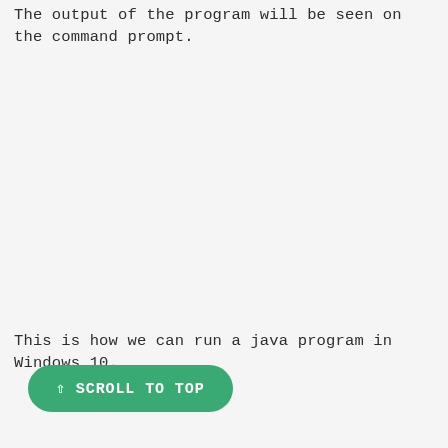The output of the program will be seen on the command prompt.
This is how we can run a java program in Windows 10.
⇧ SCROLL TO TOP